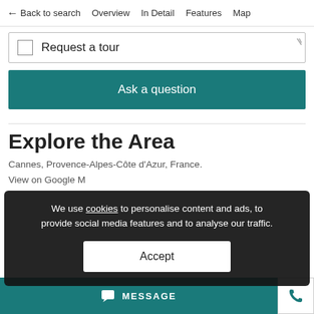← Back to search   Overview   In Detail   Features   Map
Request a tour
Ask a question
Explore the Area
We use cookies to personalise content and ads, to provide social media features and to analyse our traffic.
Accept
Cannes, Provence-Alpes-Côte d'Azur, France.
View on Google M
MESSAGE